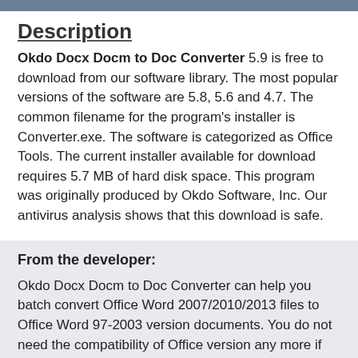Description
Okdo Docx Docm to Doc Converter 5.9 is free to download from our software library. The most popular versions of the software are 5.8, 5.6 and 4.7. The common filename for the program's installer is Converter.exe. The software is categorized as Office Tools. The current installer available for download requires 5.7 MB of hard disk space. This program was originally produced by Okdo Software, Inc. Our antivirus analysis shows that this download is safe.
From the developer:
Okdo Docx Docm to Doc Converter can help you batch convert Office Word 2007/2010/2013 files to Office Word 97-2003 version documents. You do not need the compatibility of Office version any more if you own it. It provides for you a simple and speedy method to convert your docx/docm files to your